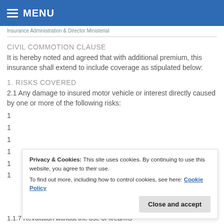MENU
Insurance Administration &amp; Director Ministerial
CIVIL COMMOTION CLAUSE
It is hereby noted and agreed that with additional premium, this insurance shall extend to include coverage as stipulated below:
1. RISKS COVERED
2.1 Any damage to insured motor vehicle or interest directly caused by one or more of the following risks:
1...
1...
1...
1...
1...
1...
Privacy & Cookies: This site uses cookies. By continuing to use this website, you agree to their use. To find out more, including how to control cookies, see here: Cookie Policy
1.1.7 Revolution without the use of firearms